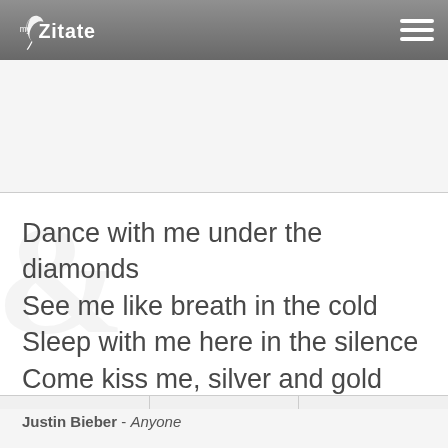myZitate
Dance with me under the diamonds
See me like breath in the cold
Sleep with me here in the silence
Come kiss me, silver and gold
Justin Bieber - Anyone